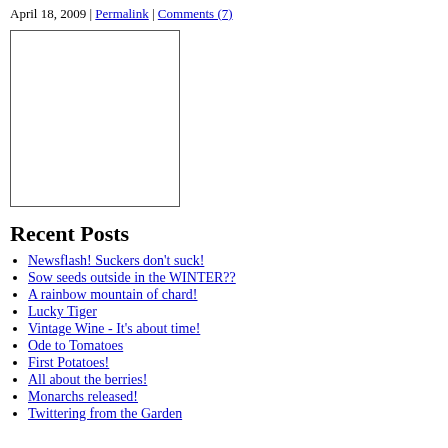April 18, 2009 | Permalink | Comments (7)
[Figure (other): Empty white rectangle with border, likely a placeholder image]
Recent Posts
Newsflash! Suckers don't suck!
Sow seeds outside in the WINTER??
A rainbow mountain of chard!
Lucky Tiger
Vintage Wine - It's about time!
Ode to Tomatoes
First Potatoes!
All about the berries!
Monarchs released!
Twittering from the Garden